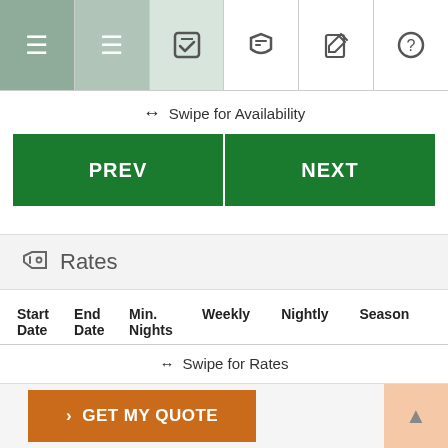[Figure (screenshot): Navigation bar with 6 icon tabs: hamburger menu (active, dark green), list icon (medium green), calendar/checkmark icon (light green), tag icon, edit icon, and question mark icon]
↔ Swipe for Availability
[Figure (other): PREV and NEXT buttons side by side in dark green]
Rates
| Start Date | End Date | Min. Nights | Weekly | Nightly | Season |
| --- | --- | --- | --- | --- | --- |
↔ Swipe for Rates
[Figure (other): GET MY QUOTE button in orange-brown at the bottom, with a scroll-to-top button on the right]